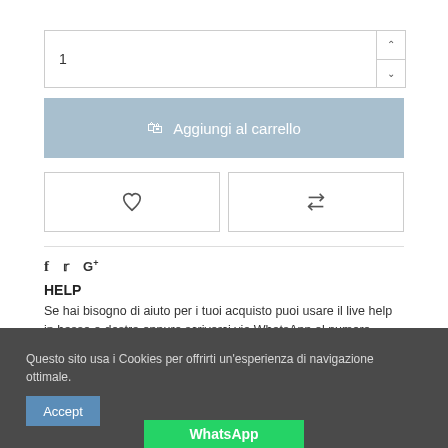1
Aggiungi al carrello
[Figure (illustration): Heart/wishlist icon and shuffle/compare icon buttons]
f  t  G+
HELP
Se hai bisogno di aiuto per i tuoi acquisto puoi usare il live help in basso a destra oppure scriverci via WhatsApp al numero 338/2394620
Una persona sarà a tua disposizione per consigliarti il prodotto giusto.
Questo sito usa i Cookies per offrirti un'esperienza di navigazione ottimale.
Accept
WhatsApp